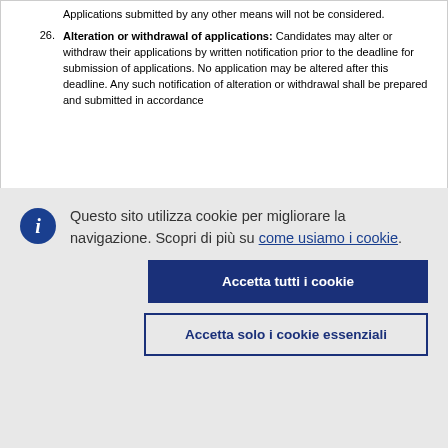Applications submitted by any other means will not be considered.
26. Alteration or withdrawal of applications: Candidates may alter or withdraw their applications by written notification prior to the deadline for submission of applications. No application may be altered after this deadline. Any such notification of alteration or withdrawal shall be prepared and submitted in accordance
Questo sito utilizza cookie per migliorare la navigazione. Scopri di più su come usiamo i cookie.
Accetta tutti i cookie
Accetta solo i cookie essenziali